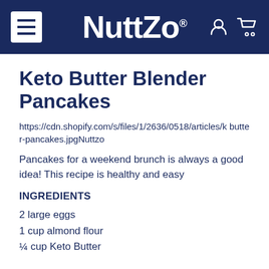NuttZo
Keto Butter Blender Pancakes
https://cdn.shopify.com/s/files/1/2636/0518/articles/k butter-pancakes.jpgNuttzo
Pancakes for a weekend brunch is always a good idea! This recipe is healthy and easy
INGREDIENTS
2 large eggs
1 cup almond flour
¼ cup Keto Butter